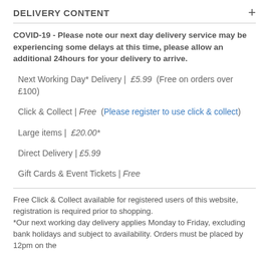DELIVERY CONTENT
COVID-19 - Please note our next day delivery service may be experiencing some delays at this time, please allow an additional 24hours for your delivery to arrive.
Next Working Day* Delivery | £5.99 (Free on orders over £100)
Click & Collect | Free (Please register to use click & collect)
Large items | £20.00*
Direct Delivery | £5.99
Gift Cards & Event Tickets | Free
Free Click & Collect available for registered users of this website, registration is required prior to shopping.
*Our next working day delivery applies Monday to Friday, excluding bank holidays and subject to availability. Orders must be placed by 12pm on the